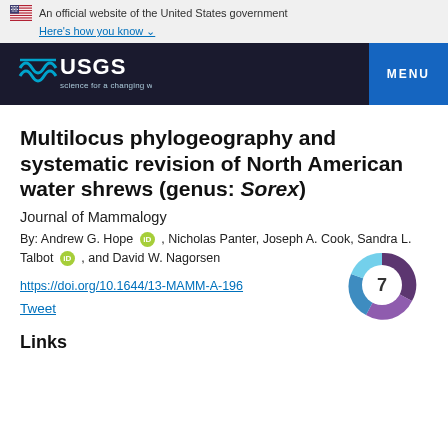An official website of the United States government Here's how you know
[Figure (logo): USGS logo with text 'science for a changing world' and MENU button on dark navy navigation bar]
Multilocus phylogeography and systematic revision of North American water shrews (genus: Sorex)
Journal of Mammalogy
By: Andrew G. Hope , Nicholas Panter, Joseph A. Cook, Sandra L. Talbot , and David W. Nagorsen
https://doi.org/10.1644/13-MAMM-A-196
Tweet
[Figure (other): Altmetric donut badge showing number 7 with blue/purple spiral donut chart]
Links